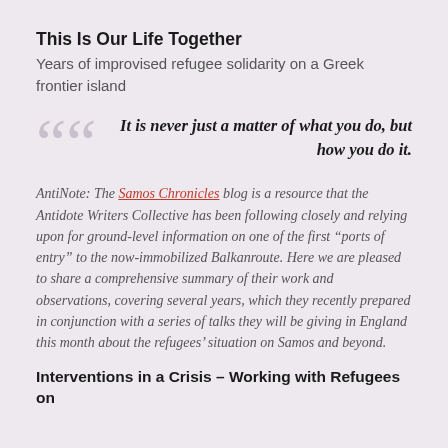This Is Our Life Together
Years of improvised refugee solidarity on a Greek frontier island
It is never just a matter of what you do, but how you do it.
AntiNote: The Samos Chronicles blog is a resource that the Antidote Writers Collective has been following closely and relying upon for ground-level information on one of the first “ports of entry” to the now-immobilized Balkanroute. Here we are pleased to share a comprehensive summary of their work and observations, covering several years, which they recently prepared in conjunction with a series of talks they will be giving in England this month about the refugees’ situation on Samos and beyond.
Interventions in a Crisis – Working with Refugees on